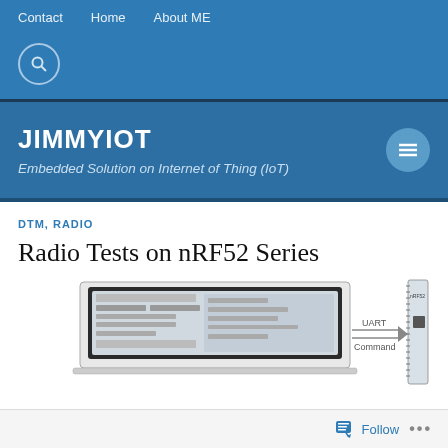Contact   Home   About ME
JIMMYIOT
Embedded Solution on Internet of Thing (IoT)
DTM, RADIO
Radio Tests on nRF52 Series
[Figure (engineering-diagram): Diagram showing a laptop connected to an nRF52 development board via UART Command interface]
Follow   ...